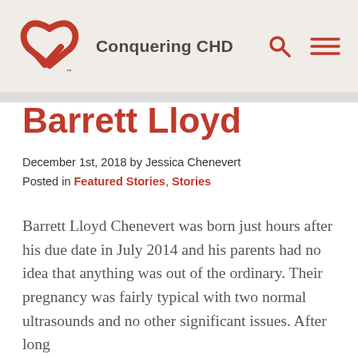Conquering CHD
Barrett Lloyd
December 1st, 2018 by Jessica Chenevert
Posted in Featured Stories, Stories
Barrett Lloyd Chenevert was born just hours after his due date in July 2014 and his parents had no idea that anything was out of the ordinary. Their pregnancy was fairly typical with two normal ultrasounds and no other significant issues. After long